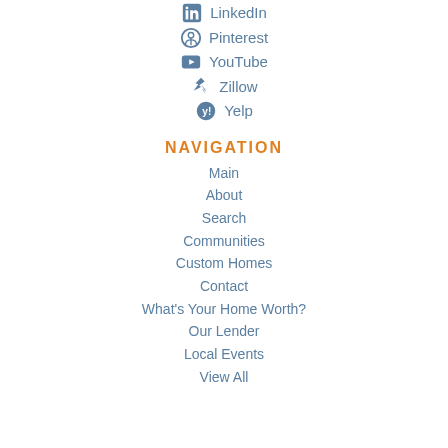LinkedIn
Pinterest
YouTube
Zillow
Yelp
NAVIGATION
Main
About
Search
Communities
Custom Homes
Contact
What's Your Home Worth?
Our Lender
Local Events
View All